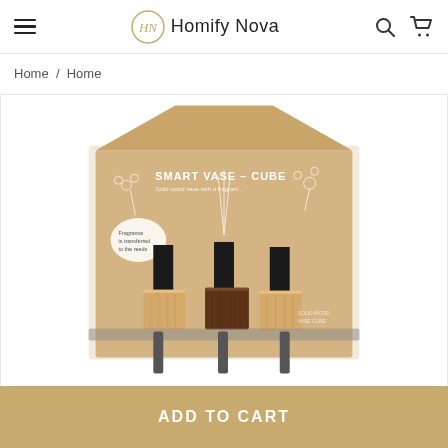Homify Nova
Home / Home
[Figure (photo): Product photo of Smart Vase - Cube set of three wooden cube vases in light, dark, and light wood tones with reed diffuser sticks, displayed in kraft cardboard packaging with floral illustrations.]
ADD TO CART